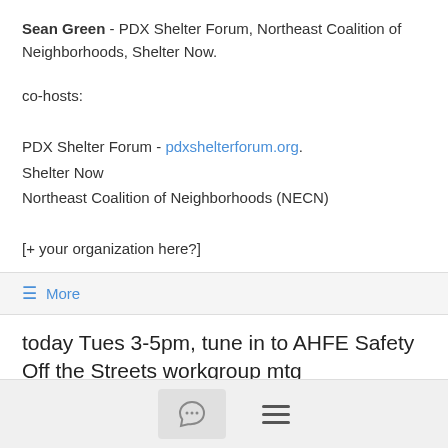Sean Green - PDX Shelter Forum, Northeast Coalition of Neighborhoods, Shelter Now.
co-hosts:
PDX Shelter Forum - pdxshelterforum.org.
Shelter Now
Northeast Coalition of Neighborhoods (NECN)
[+ your organization here?]
≡ More
today Tues 3-5pm, tune in to AHFE Safety Off the Streets workgroup mtg
Tim McCormick  2/16/21